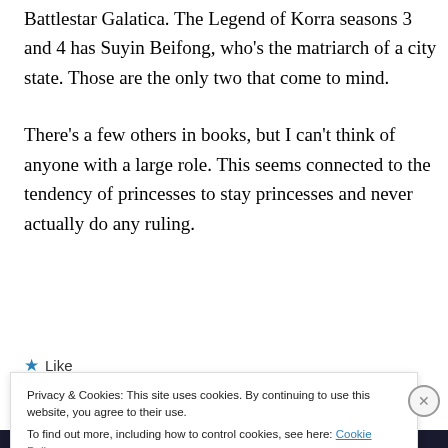Battlestar Galatica. The Legend of Korra seasons 3 and 4 has Suyin Beifong, who's the matriarch of a city state. Those are the only two that come to mind.
There's a few others in books, but I can't think of anyone with a large role. This seems connected to the tendency of princesses to stay princesses and never actually do any ruling.
★ Like
Privacy & Cookies: This site uses cookies. By continuing to use this website, you agree to their use. To find out more, including how to control cookies, see here: Cookie Policy
Close and accept